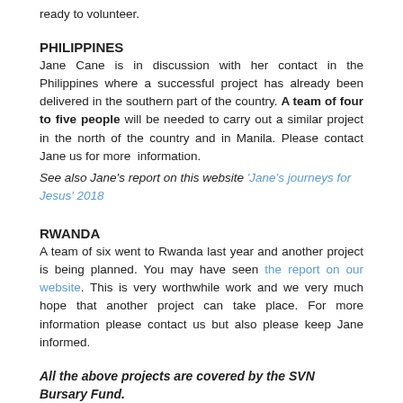ready to volunteer.
PHILIPPINES
Jane Cane is in discussion with her contact in the Philippines where a successful project has already been delivered in the southern part of the country. A team of four to five people will be needed to carry out a similar project in the north of the country and in Manila. Please contact Jane us for more information.
See also Jane's report on this website 'Jane's journeys for Jesus' 2018
RWANDA
A team of six went to Rwanda last year and another project is being planned. You may have seen the report on our website. This is very worthwhile work and we very much hope that another project can take place. For more information please contact us but also please keep Jane informed.
All the above projects are covered by the SVN Bursary Fund.
[Figure (other): Tweet button with Twitter bird icon]